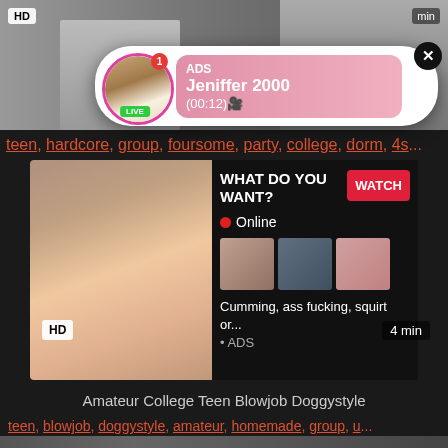[Figure (screenshot): Top video thumbnail with HD badge, partial female figures visible at top]
[Figure (screenshot): Notification popup ad: avatar with LIVE badge, ADS label, name Jeniffer 2000, time (00:12), pink gradient background, X close button]
teen, hardcore, group, foursome, party, college, dorm, 4s...
[Figure (screenshot): Large advertisement block: left side shows adult image, right side shows 'WHAT DO YOU WANT?' text, WATCH button, Online indicator, three thumbnails, 'Cumming, ass fucking, squirt or...' text, ADS label]
HD
4 min
Amateur College Teen Blowjob Doggystyle
teen, blowjob, doggystyle, amateur, homemade, group, u...
[Figure (screenshot): Bottom partial thumbnail of another video]